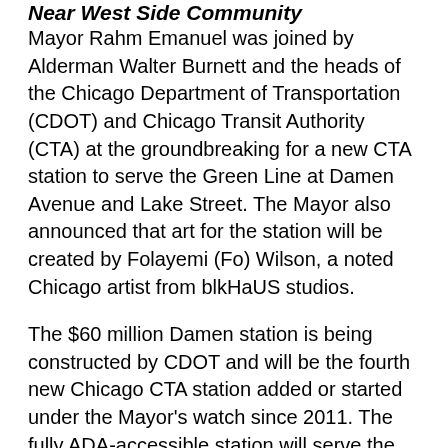Near West Side Community
Mayor Rahm Emanuel was joined by Alderman Walter Burnett and the heads of the Chicago Department of Transportation (CDOT) and Chicago Transit Authority (CTA) at the groundbreaking for a new CTA station to serve the Green Line at Damen Avenue and Lake Street. The Mayor also announced that art for the station will be created by Folayemi (Fo) Wilson, a noted Chicago artist from blkHaUS studios.
The $60 million Damen station is being constructed by CDOT and will be the fourth new Chicago CTA station added or started under the Mayor's watch since 2011. The fully ADA-accessible station will serve the Kinzie Industrial Corridor, the United Center